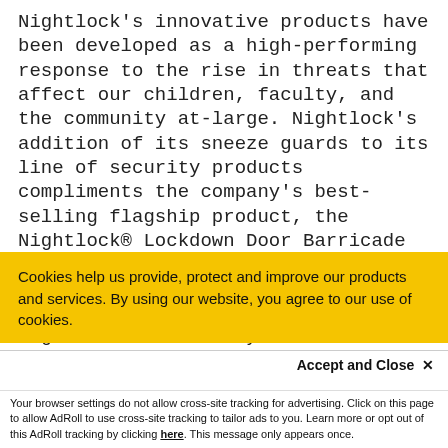Nightlock's innovative products have been developed as a high-performing response to the rise in threats that affect our children, faculty, and the community at-large. Nightlock's addition of its sneeze guards to its line of security products compliments the company's best-selling flagship product, the Nightlock® Lockdown Door Barricade devices, as well as Campus Safety Shades, and more.

Nightlock is a family-owned commercial-
Cookies help us provide, protect and improve our products and services. By using our website, you agree to our use of cookies.
Accept and Close ✕
Your browser settings do not allow cross-site tracking for advertising. Click on this page to allow AdRoll to use cross-site tracking to tailor ads to you. Learn more or opt out of this AdRoll tracking by clicking here. This message only appears once.